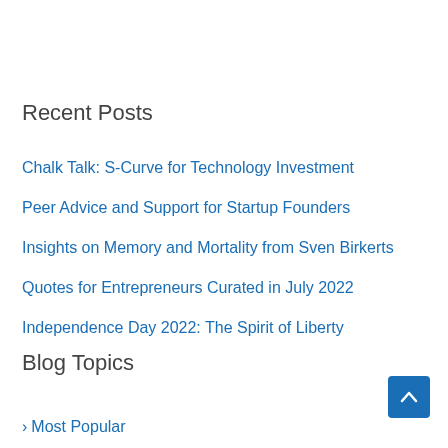Recent Posts
Chalk Talk: S-Curve for Technology Investment
Peer Advice and Support for Startup Founders
Insights on Memory and Mortality from Sven Birkerts
Quotes for Entrepreneurs Curated in July 2022
Independence Day 2022: The Spirit of Liberty
Blog Topics
Most Popular